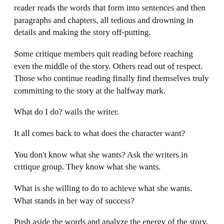reader reads the words that form into sentences and then paragraphs and chapters, all tedious and drowning in details and making the story off-putting.
Some critique members quit reading before reaching even the middle of the story. Others read out of respect. Those who continue reading finally find themselves truly committing to the story at the halfway mark.
What do I do? wails the writer.
It all comes back to what does the character want?
You don't know what she wants? Ask the writers in critique group. They know what she wants.
What is she willing to do to achieve what she wants. What stands in her way of success?
Push aside the words and analyze the energy of the story.
The stronger the pressure (antagonists) is against her, the greater